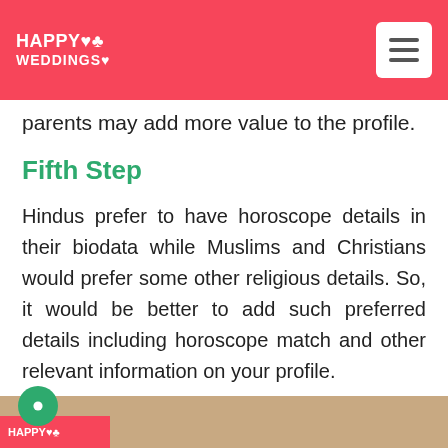HAPPY WEDDINGS
parents may add more value to the profile.
Fifth Step
Hindus prefer to have horoscope details in their biodata while Muslims and Christians would prefer some other religious details. So, it would be better to add such preferred details including horoscope match and other relevant information on your profile.
How important is Marriage Biodata?